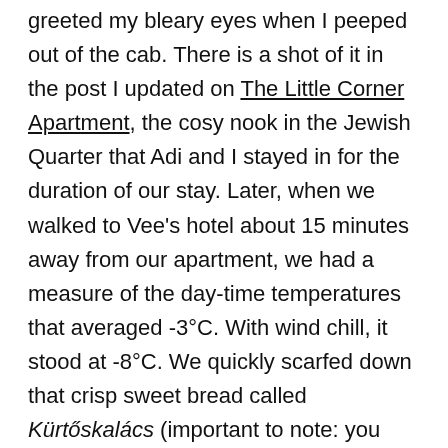greeted my bleary eyes when I peeped out of the cab. There is a shot of it in the post I updated on The Little Corner Apartment, the cosy nook in the Jewish Quarter that Adi and I stayed in for the duration of our stay. Later, when we walked to Vee's hotel about 15 minutes away from our apartment, we had a measure of the day-time temperatures that averaged -3°C. With wind chill, it stood at -8°C. We quickly scarfed down that crisp sweet bread called Kürtőskalács (important to note: you can pronounce it, just keep at it) with glasses of hot mulled wine. Cinnamon, allspice berries, cardamom, star anise, mace, ah how those wonderful spices hit the right notes as we stared at a mob practising Tai chi on the pavements